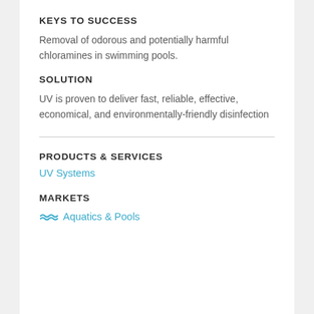KEYS TO SUCCESS
Removal of odorous and potentially harmful chloramines in swimming pools.
SOLUTION
UV is proven to deliver fast, reliable, effective, economical, and environmentally-friendly disinfection
PRODUCTS & SERVICES
UV Systems
MARKETS
Aquatics & Pools